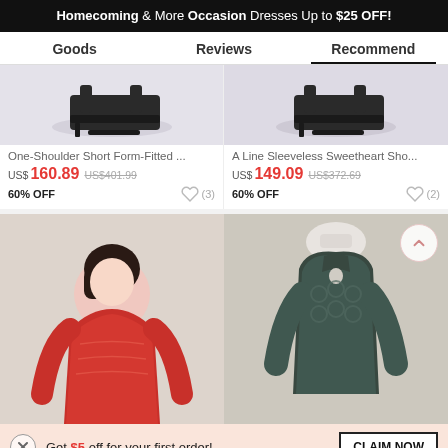Homecoming & More Occasion Dresses Up to $25 OFF!
Goods | Reviews | Recommend
[Figure (photo): Two product photos showing shoes at bottom of dress]
One-Shoulder Short Form-Fitted ...
US$160.89 US$401.99
60% OFF
A Line Sleeveless Sweetheart Sho...
US$149.09 US$372.69
60% OFF
[Figure (photo): Red long-sleeve lace dress on model (left) and dark teal lace qipao on mannequin (right)]
Get $5 off for your first order!
Live Chat | Like | ADD TO BAG